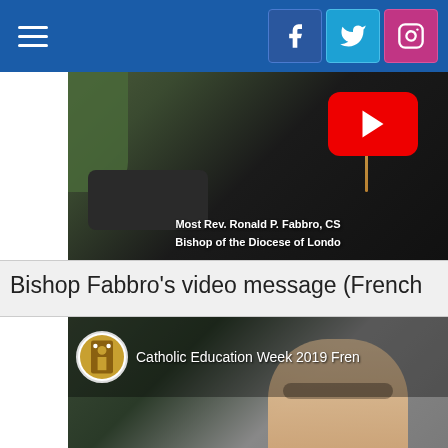[Figure (screenshot): Blue navigation bar with hamburger menu on left and Facebook, Twitter, Instagram social media icons on right]
[Figure (screenshot): YouTube video thumbnail showing Most Rev. Ronald P. Fabbro, CSB, Bishop of the Diocese of London wearing clerical collar and cross necklace, with red YouTube play button overlay]
Bishop Fabbro’s video message (French
[Figure (screenshot): YouTube video thumbnail for Catholic Education Week 2019 French video, showing a man with glasses and grey hair, with diocesan crest logo and title overlay]